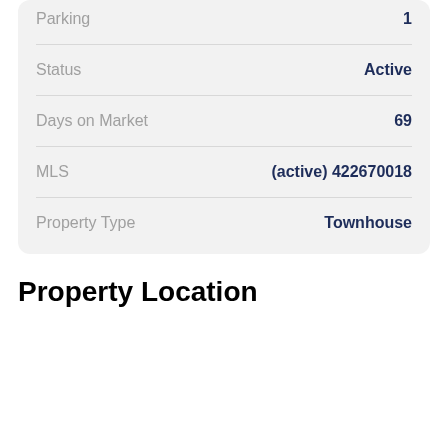| Field | Value |
| --- | --- |
| Parking | 1 |
| Status | Active |
| Days on Market | 69 |
| MLS | (active) 422670018 |
| Property Type | Townhouse |
Property Location